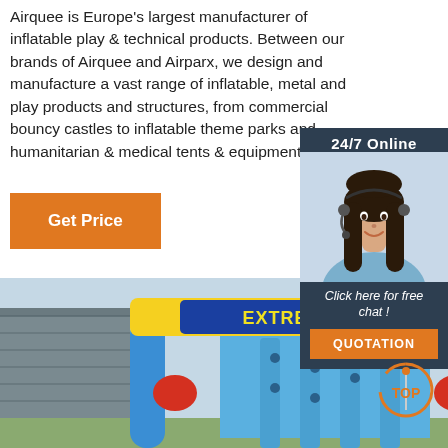Airquee is Europe's largest manufacturer of inflatable play & technical products. Between our brands of Airquee and Airparx, we design and manufacture a vast range of inflatable, metal and play products and structures, from commercial bouncy castles to inflatable theme parks and humanitarian & medical tents & equipment.
Get Price
[Figure (photo): 24/7 Online chat widget with photo of female customer service agent wearing headset, dark hair, smiling. Below: 'Click here for free chat!' text and orange QUOTATION button.]
[Figure (photo): Photo of a large inflatable play structure labeled 'EXTREME RUSH' — colorful blue, yellow, red inflatable slide/climbing structure outside a building.]
[Figure (other): Orange 'TOP' back-to-top button icon in bottom right corner.]